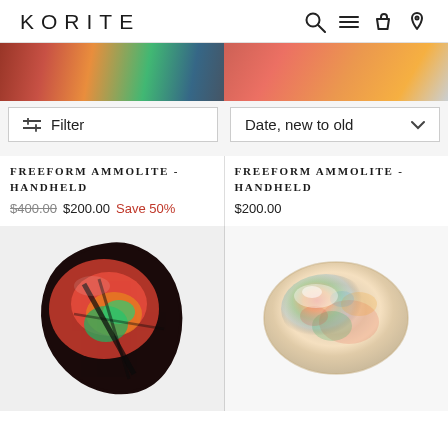KORITE
[Figure (screenshot): Navigation icons: search, menu, bag, location]
[Figure (photo): Partial top image of colorful ammolite gemstone - left column]
[Figure (photo): Partial top image of colorful ammolite gemstone - right column]
Filter
Date, new to old
FREEFORM AMMOLITE - HANDHELD
$400.00  $200.00  Save 50%
FREEFORM AMMOLITE - HANDHELD
$200.00
[Figure (photo): Dark freeform ammolite gemstone with vivid red, orange, and green iridescent colors]
[Figure (photo): Oval opal gemstone with soft white/cream body and multicolor iridescent flashes]